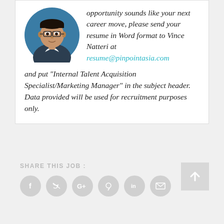[Figure (photo): Circular profile photo of a man wearing glasses and a suit with a tie, against a blue background]
opportunity sounds like your next career move, please send your resume in Word format to Vince Natteri at resume@pinpointasia.com and put "Internal Talent Acquisition Specialist/Marketing Manager" in the subject header. Data provided will be used for recruitment purposes only.
SHARE THIS JOB :